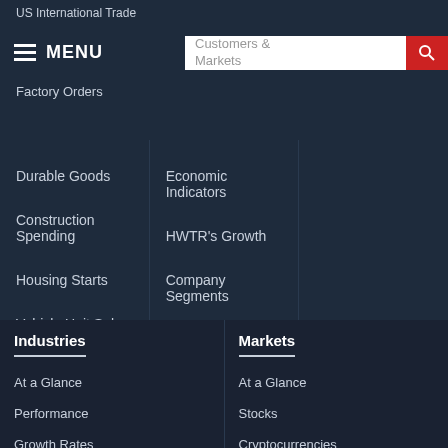US International Trade
MENU
Customers & Markets
Factory Orders
Durable Goods
Construction Spending
Housing Starts
Vehicle Unit Sales
Economic Indicators
HWTR's Growth
Company Segments
Industries
Markets
At a Glance
Performance
Growth Rates
At a Glance
Stocks
Cryptocurrencies